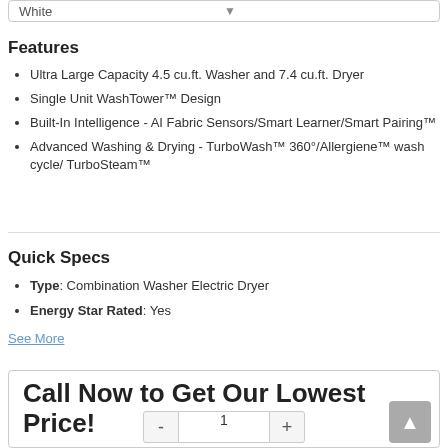White
Features
Ultra Large Capacity 4.5 cu.ft. Washer and 7.4 cu.ft. Dryer
Single Unit WashTower™ Design
Built-In Intelligence - AI Fabric Sensors/Smart Learner/Smart Pairing™
Advanced Washing & Drying - TurboWash™ 360°/Allergiene™ wash cycle/ TurboSteam™
Quick Specs
Type: Combination Washer Electric Dryer
Energy Star Rated: Yes
See More
Call Now to Get Our Lowest Price!
Rebate Available
See Details